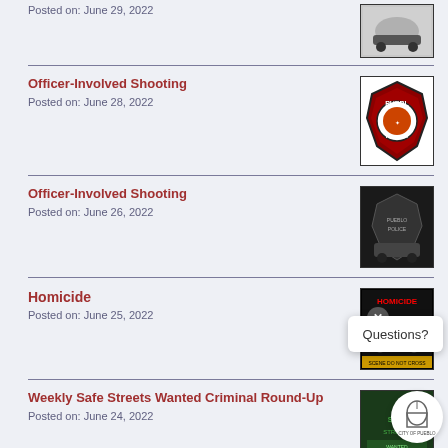Posted on: June 29, 2022
Officer-Involved Shooting
Posted on: June 28, 2022
Officer-Involved Shooting
Posted on: June 26, 2022
Homicide
Posted on: June 25, 2022
Weekly Safe Streets Wanted Criminal Round-Up
Posted on: June 24, 2022
No POWPO Arrest
Posted on: June 22, 2022